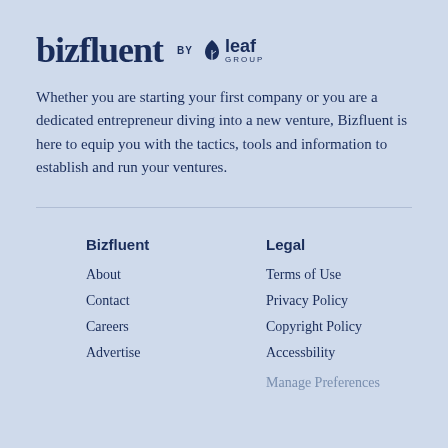[Figure (logo): bizfluent by Leaf Group logo]
Whether you are starting your first company or you are a dedicated entrepreneur diving into a new venture, Bizfluent is here to equip you with the tactics, tools and information to establish and run your ventures.
Bizfluent
About
Contact
Careers
Advertise
Legal
Terms of Use
Privacy Policy
Copyright Policy
Accessbility
Manage Preferences